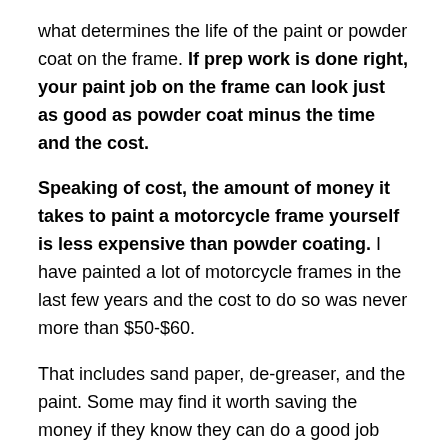what determines the life of the paint or powder coat on the frame. If prep work is done right, your paint job on the frame can look just as good as powder coat minus the time and the cost.
Speaking of cost, the amount of money it takes to paint a motorcycle frame yourself is less expensive than powder coating. I have painted a lot of motorcycle frames in the last few years and the cost to do so was never more than $50-$60.
That includes sand paper, de-greaser, and the paint. Some may find it worth saving the money if they know they can do a good job that has the same results as powder coating.